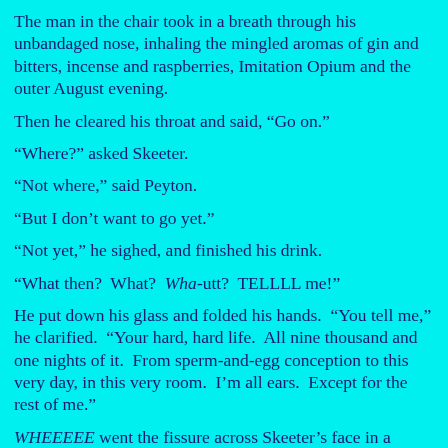The man in the chair took in a breath through his unbandaged nose, inhaling the mingled aromas of gin and bitters, incense and raspberries, Imitation Opium and the outer August evening.
Then he cleared his throat and said, “Go on.”
“Where?” asked Skeeter.
“Not where,” said Peyton.
“But I don’t want to go yet.”
“Not yet,” he sighed, and finished his drink.
“What then?  What?  Wha-utt?  TELLLL me!”
He put down his glass and folded his hands.  “You tell me,” he clarified.  “Your hard, hard life.  All nine thousand and one nights of it.  From sperm-and-egg conception to this very day, in this very room.  I’m all ears.  Except for the rest of me.”
WHEEEEE went the fissure across Skeeter’s face in a flashdancy way you could never forget—as if there were anything about Kelly Rebecca Kitefly, of course, that you were ever likely to forget.